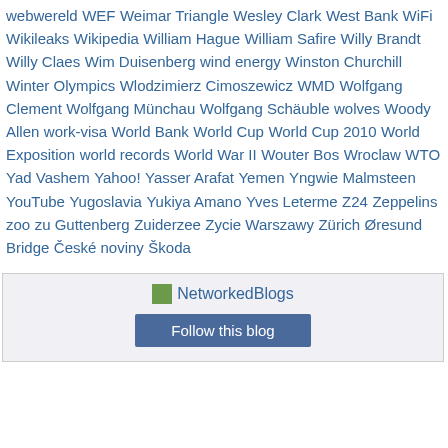webwereld WEF Weimar Triangle Wesley Clark West Bank WiFi Wikileaks Wikipedia William Hague William Safire Willy Brandt Willy Claes Wim Duisenberg wind energy Winston Churchill Winter Olympics Wlodzimierz Cimoszewicz WMD Wolfgang Clement Wolfgang Münchau Wolfgang Schäuble wolves Woody Allen work-visa World Bank World Cup World Cup 2010 World Exposition world records World War II Wouter Bos Wroclaw WTO Yad Vashem Yahoo! Yasser Arafat Yemen Yngwie Malmsteen YouTube Yugoslavia Yukiya Amano Yves Leterme Z24 Zeppelins zoo zu Guttenberg Zuiderzee Zycie Warszawy Zürich Øresund Bridge České noviny Škoda
[Figure (other): NetworkedBlogs widget with logo and Follow this blog button]